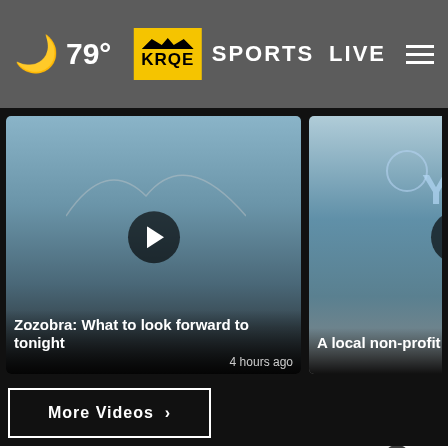[Figure (screenshot): KRQE News website header with dark gray background showing moon icon, 79° temperature, KRQE logo, SPORTS text, LIVE button, and hamburger menu]
[Figure (screenshot): Video thumbnail for 'Zozobra: What to look forward to tonight' with play button, 4 hours ago timestamp]
[Figure (screenshot): Video thumbnail for 'A local non-profit organization is...' with YDI logo and play button, 4 hours ago timestamp]
[Figure (screenshot): Partial video thumbnail of a person on the right edge labeled 'Albuqu... accu...']
[Figure (screenshot): More Videos button with right arrow in white border]
[Figure (screenshot): One Albuquerque / ABO RIDE advertisement banner in cyan]
[Figure (screenshot): Bottom advertisement banner: Save Up To $110 On New Tires - Virginia Tire & Auto of Ashburn Fa.]